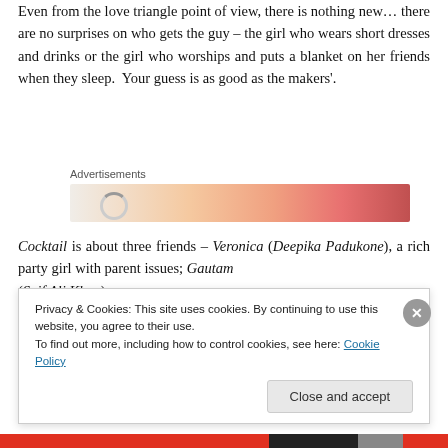Even from the love triangle point of view, there is nothing new… there are no surprises on who gets the guy – the girl who wears short dresses and drinks or the girl who worships and puts a blanket on her friends when they sleep.  Your guess is as good as the makers'.
[Figure (other): Advertisements banner with gradient orange-pink-red colors and a loading spinner circle on the left]
Cocktail is about three friends – Veronica (Deepika Padukone), a rich party girl with parent issues; Gautam (Saif Ali Khan)...
Privacy & Cookies: This site uses cookies. By continuing to use this website, you agree to their use.
To find out more, including how to control cookies, see here: Cookie Policy
Close and accept